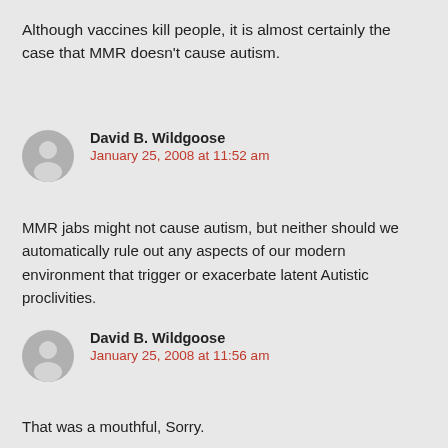Although vaccines kill people, it is almost certainly the case that MMR doesn't cause autism.
David B. Wildgoose
January 25, 2008 at 11:52 am
MMR jabs might not cause autism, but neither should we automatically rule out any aspects of our modern environment that trigger or exacerbate latent Autistic proclivities.
David B. Wildgoose
January 25, 2008 at 11:56 am
That was a mouthful, Sorry.